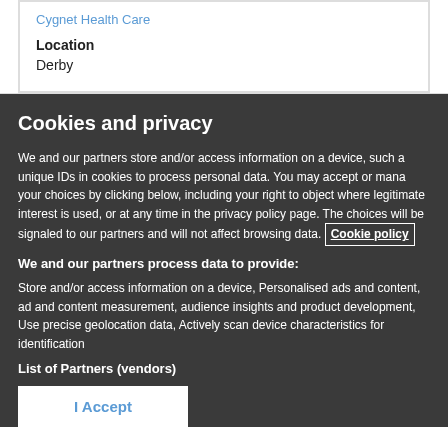Cygnet Health Care
Location
Derby
Cookies and privacy
We and our partners store and/or access information on a device, such as unique IDs in cookies to process personal data. You may accept or manage your choices by clicking below, including your right to object where legitimate interest is used, or at any time in the privacy policy page. These choices will be signaled to our partners and will not affect browsing data. Cookie policy
We and our partners process data to provide:
Store and/or access information on a device, Personalised ads and content, ad and content measurement, audience insights and product development, Use precise geolocation data, Actively scan device characteristics for identification
List of Partners (vendors)
I Accept